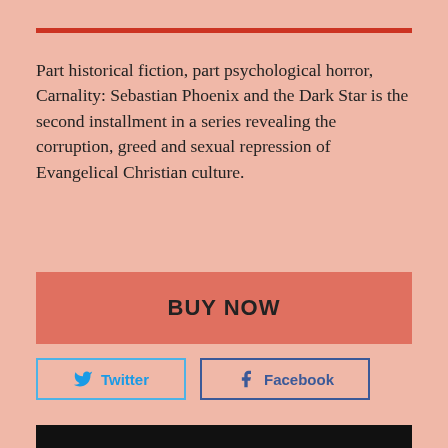Part historical fiction, part psychological horror, Carnality: Sebastian Phoenix and the Dark Star is the second installment in a series revealing the corruption, greed and sexual repression of Evangelical Christian culture.
BUY NOW
Twitter
Facebook
[Figure (photo): Book cover for Carnality: Sebastian Phoenix and the Dark Star. Dark background with large red text reading CARNALITY and subtitle SEBASTIAN PHOENIX AND THE DARK STAR in gold/tan lettering.]